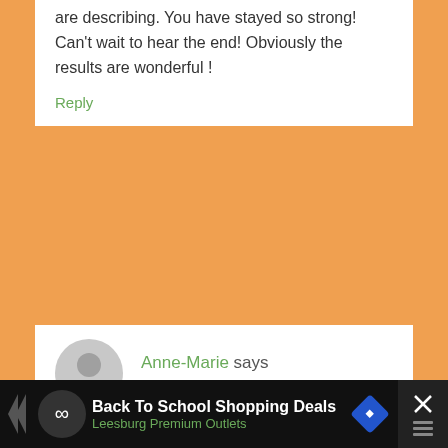are describing. You have stayed so strong! Can't wait to hear the end! Obviously the results are wonderful !
Reply
Anne-Marie says
June 11, 2013 at 8:39 am
It's true, you were doing such a great job! My wonderful father-in-law gave me a rosary to say just in case my labor lasted a long time. The long, slow breathing and going inward are very HypnoBirthing. I feel like I'm in the room with you
[Figure (screenshot): Advertisement bar at bottom: Back To School Shopping Deals - Leesburg Premium Outlets]